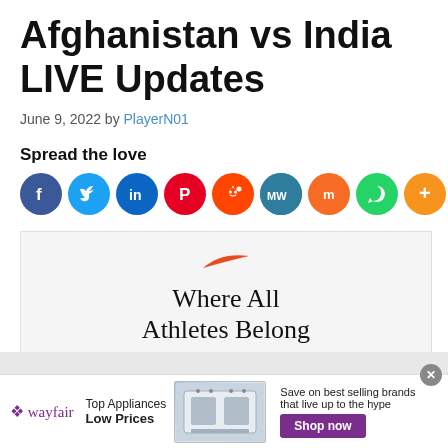Afghanistan vs India LIVE Updates
June 9, 2022 by PlayerN01
Spread the love
[Figure (infographic): Social sharing icons row: Facebook, Twitter, LinkedIn, Pinterest, Reddit, MeWe, Mix, WhatsApp, More]
[Figure (photo): Nike advertisement: swoosh logo and text 'Where All Athletes Belong' on light gray background]
[Figure (infographic): Wayfair advertisement banner: Wayfair logo, Top Appliances Low Prices, appliance image, Save on best selling brands that live up to the hype, Shop now button]